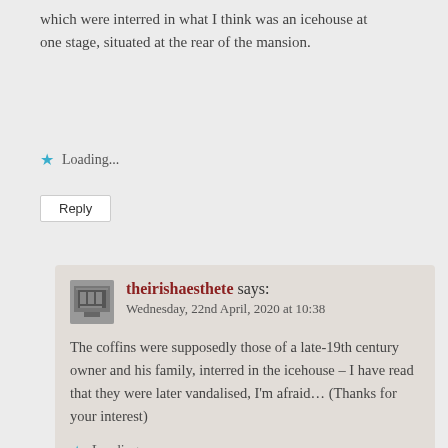which were interred in what I think was an icehouse at one stage, situated at the rear of the mansion.
Loading...
Reply
theirishaesthete says: Wednesday, 22nd April, 2020 at 10:38
The coffins were supposedly those of a late-19th century owner and his family, interred in the icehouse – I have read that they were later vandalised, I'm afraid… (Thanks for your interest)
Loading...
Reply